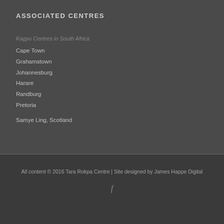ASSOCIATED CENTRES
Kagyu Centres in South Africa
Cape Town
Grahamstown
Johannesburg
Harare
Randburg
Pretoria
Samye Ling, Scotland
All content © 2016 Tara Rokpa Centre | Site designed by James Happe Digital